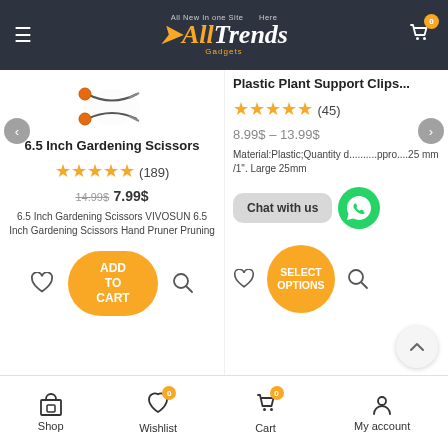All Trends Here - All New In one Site Gadgets
6.5 Inch Gardening Scissors
★★★★★ (189)
14.99$ 7.99$
6.5 Inch Gardening Scissors VIVOSUN 6.5 Inch Gardening Scissors Hand Pruner Pruning
ADD TO CART
Plastic Plant Support Clips
★★★★★ (45)
8.99$ – 13.99$
Material:Plastic;Quantity d... ... approx. 25 mm /1". Large 25mm
Chat with us
SELECT OPTIONS
Shop  Wishlist  Cart  My account